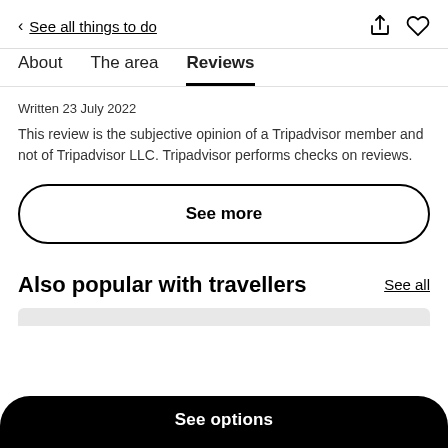< See all things to do
About   The area   Reviews
Written 23 July 2022
This review is the subjective opinion of a Tripadvisor member and not of Tripadvisor LLC. Tripadvisor performs checks on reviews.
See more
Also popular with travellers
See all
See options